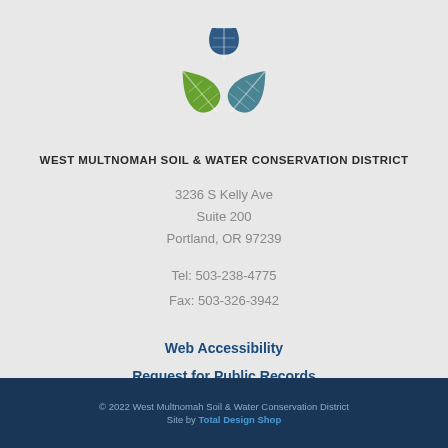[Figure (logo): West Multnomah Soil & Water Conservation District logo — three leaf shapes (one dark blue on top, two green on bottom) arranged in a triangular pattern]
WEST MULTNOMAH SOIL & WATER CONSERVATION DISTRICT
3236 S Kelly Ave
Suite 200
Portland, OR 97239
Tel: 503-238-4775
Fax: 503-326-3942
Web Accessibility
Request for Public Records
© 2022 West Multnomah Soil & Water Conservation District
Site by Total Design Shop